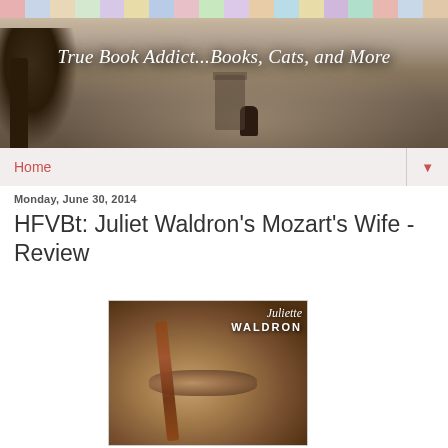[Figure (illustration): Blog header banner showing 'True Book Addict...Books, Cats, and More' with a misty fantasy scene with a tree and a cat, and colorful book spines at the top]
Home ▼
Monday, June 30, 2014
HFVBt: Juliet Waldron's Mozart's Wife - Review
[Figure (photo): Book cover for Mozart's Wife by Juliette Waldron, showing a person's face partially obscured by a violin, with the author name 'Juliette Waldron' displayed in decorative text]